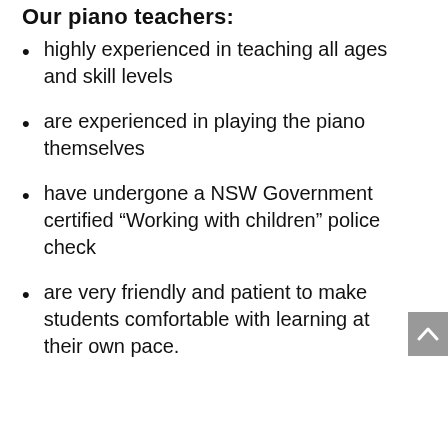Our piano teachers:
highly experienced in teaching all ages and skill levels
are experienced in playing the piano themselves
have undergone a NSW Government certified “Working with children” police check
are very friendly and patient to make students comfortable with learning at their own pace.